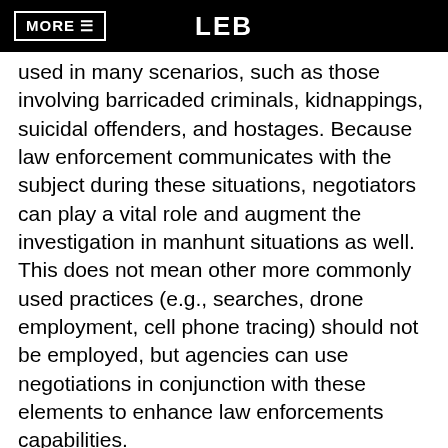MORE ≡   LEB
used in many scenarios, such as those involving barricaded criminals, kidnappings, suicidal offenders, and hostages. Because law enforcement communicates with the subject during these situations, negotiators can play a vital role and augment the investigation in manhunt situations as well. This does not mean other more commonly used practices (e.g., searches, drone employment, cell phone tracing) should not be employed, but agencies can use negotiations in conjunction with these elements to enhance law enforcements capabilities.
"Because law enforcement communicates with the subject during these